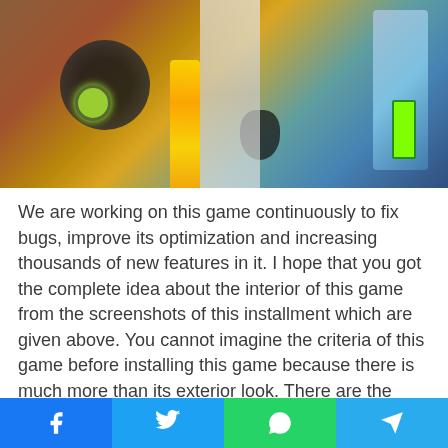[Figure (screenshot): A video game screenshot showing a colorful racing or action game scene with a character surrounded by green glowing elements on a brown track, yellow coins, a light-colored ramp, and a blue/teal background panel with a green health/energy bar.]
We are working on this game continuously to fix bugs, improve its optimization and increasing thousands of new features in it. I hope that you got the complete idea about the interior of this game from the screenshots of this installment which are given above. You cannot imagine the criteria of this game before installing this game because there is much more than its exterior look. There are the
[Figure (infographic): Social media share bar with four buttons: Facebook (blue), Twitter (light blue), WhatsApp (green), Telegram (cyan/blue)]